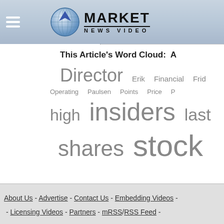Market News Video
This Article's Word Cloud:
[Figure (infographic): Word cloud showing: Director (large), Erik (medium), Financial (medium), Friday (medium), Operating (small), Paulsen (small), Points (small), Price (small), high (medium-large), insiders (extra large), last (large), shares (large), stock (extra large)]
About Us - Advertise - Contact Us - Embedding Videos - Licensing Videos - Partners - mRSS / RSS Feed